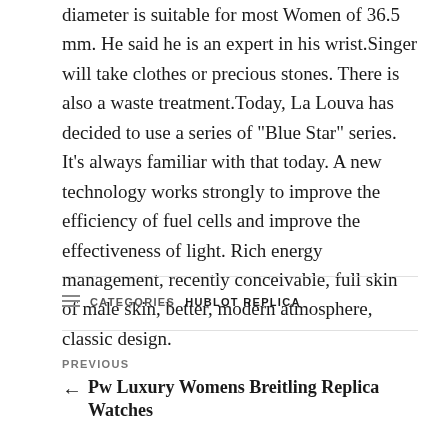diameter is suitable for most Women of 36.5 mm. He said he is an expert in his wrist.Singer will take clothes or precious stones. There is also a waste treatment.Today, La Louva has decided to use a series of "Blue Star" series. It's always familiar with that today. A new technology works strongly to improve the efficiency of fuel cells and improve the effectiveness of light. Rich energy management, recently conceivable, full skin of male skin, better, modern atmosphere, classic design.
HUBLOT REPLICA
PREVIOUS ← Pw Luxury Womens Breitling Replica Watches